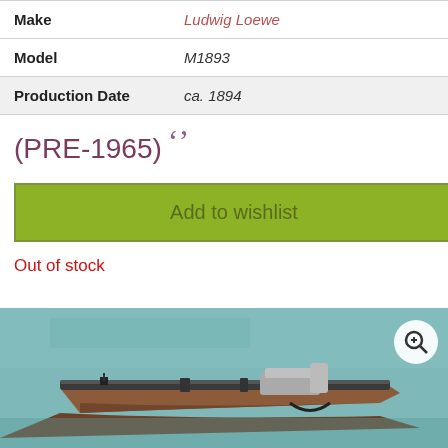| Make | Ludwig Loewe |
| Model | M1893 |
| Production Date | ca. 1894 |
(PRE-1965)
Add to wishlist
Out of stock
[Figure (photo): Close-up photograph of a rifle (Ludwig Loewe M1893) showing the bolt action and receiver area, placed on a teal/blue-green fabric background.]